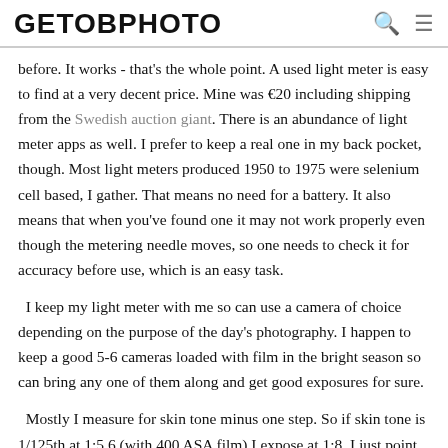GETOBPHOTO
before. It works - that's the whole point. A used light meter is easy to find at a very decent price. Mine was €20 including shipping from the Swedish auction giant. There is an abundance of light meter apps as well. I prefer to keep a real one in my back pocket, though. Most light meters produced 1950 to 1975 were selenium cell based, I gather. That means no need for a battery. It also means that when you've found one it may not work properly even though the metering needle moves, so one needs to check it for accuracy before use, which is an easy task.
I keep my light meter with me so can use a camera of choice depending on the purpose of the day's photography. I happen to keep a good 5-6 cameras loaded with film in the bright season so can bring any one of them along and get good exposures for sure.
Mostly I measure for skin tone minus one step. So if skin tone is 1/125th at 1:5,6 (with 400 ASA film) I expose at 1:8. I just point the light meter to my hand which I hold in the preferred light.